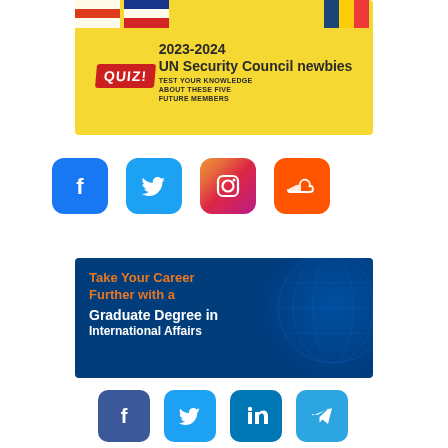[Figure (illustration): 2023-2024 UN Security Council newbies quiz banner on yellow background with national flags and a red QUIZ badge. Text: '2023-2024 UN Security Council newbies — TEST YOUR KNOWLEDGE ABOUT THESE FIVE FUTURE MEMBERS']
[Figure (illustration): Row of four social media icons: Facebook (blue), Twitter (light blue), Instagram (gradient), SoundCloud (orange)]
[Figure (illustration): Career promotion banner on dark blue background with globe graphic. Orange text: 'Take Your Career Further with a', white text: 'Graduate Degree in International Affairs']
[Figure (illustration): Row of four social sharing icons: Facebook (dark blue), Twitter (light blue), LinkedIn (blue), Telegram (light blue)]